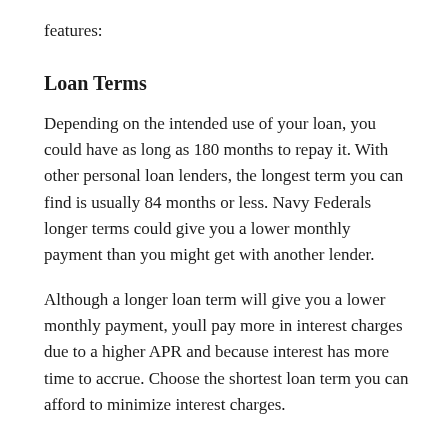features:
Loan Terms
Depending on the intended use of your loan, you could have as long as 180 months to repay it. With other personal loan lenders, the longest term you can find is usually 84 months or less. Navy Federals longer terms could give you a lower monthly payment than you might get with another lender.
Although a longer loan term will give you a lower monthly payment, youll pay more in interest charges due to a higher APR and because interest has more time to accrue. Choose the shortest loan term you can afford to minimize interest charges.